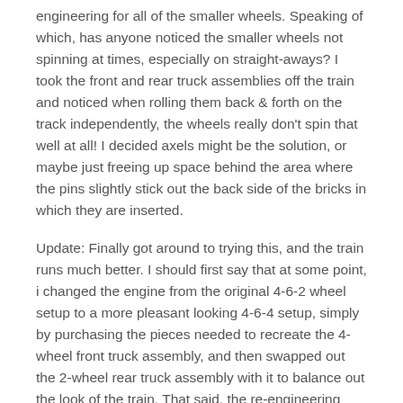engineering for all of the smaller wheels. Speaking of which, has anyone noticed the smaller wheels not spinning at times, especially on straight-aways? I took the front and rear truck assemblies off the train and noticed when rolling them back & forth on the track independently, the wheels really don't spin that well at all! I decided axels might be the solution, or maybe just freeing up space behind the area where the pins slightly stick out the back side of the bricks in which they are inserted.
Update: Finally got around to trying this, and the train runs much better. I should first say that at some point, i changed the engine from the original 4-6-2 wheel setup to a more pleasant looking 4-6-4 setup, simply by purchasing the pieces needed to recreate the 4-wheel front truck assembly, and then swapped out the 2-wheel rear truck assembly with it to balance out the look of the train. That said, the re-engineering process necessary for putting axels in the truck assemblies is basically the same for the front and rear of my particular engine design.
For this, all i did was move the brown technic bricks forward on the front truck (and backward on the rear truck), so i could run an axel through 2 of the outer small wheels on each truck